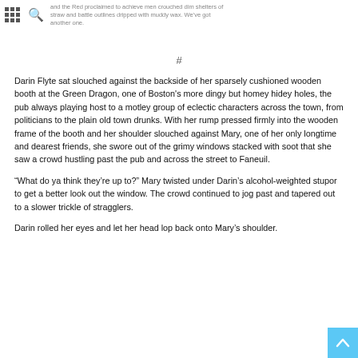and the Red proclaimed to achieve men crouched dim shelters of straw and battle outlines dripped with muddy wax. We've got another one.
#
Darin Flyte sat slouched against the backside of her sparsely cushioned wooden booth at the Green Dragon, one of Boston's more dingy but homey hidey holes, the pub always playing host to a motley group of eclectic characters across the town, from politicians to the plain old town drunks. With her rump pressed firmly into the wooden frame of the booth and her shoulder slouched against Mary, one of her only longtime and dearest friends, she swore out of the grimy windows stacked with soot that she saw a crowd hustling past the pub and across the street to Faneuil.
“What do ya think they’re up to?” Mary twisted under Darin’s alcohol-weighted stupor to get a better look out the window. The crowd continued to jog past and tapered out to a slower trickle of stragglers.
Darin rolled her eyes and let her head lop back onto Mary’s shoulder.